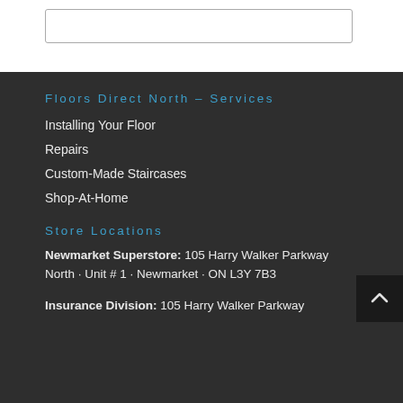[Figure (screenshot): Top white section with a search input box partially visible at the top of the page]
Floors Direct North – Services
Installing Your Floor
Repairs
Custom-Made Staircases
Shop-At-Home
Store Locations
Newmarket Superstore: 105 Harry Walker Parkway North · Unit # 1 · Newmarket · ON L3Y 7B3
Insurance Division: 105 Harry Walker Parkway North · Unit # 2 · Newmarket · ON L3Y 7B3